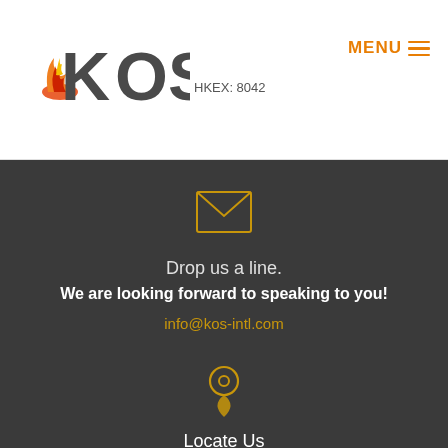[Figure (logo): KOS company logo with flame graphic and text HKEX: 8042]
MENU ☰
[Figure (illustration): Gold envelope/mail icon]
Drop us a line.
We are looking forward to speaking to you!
info@kos-intl.com
[Figure (illustration): Gold map pin / location icon]
Locate Us